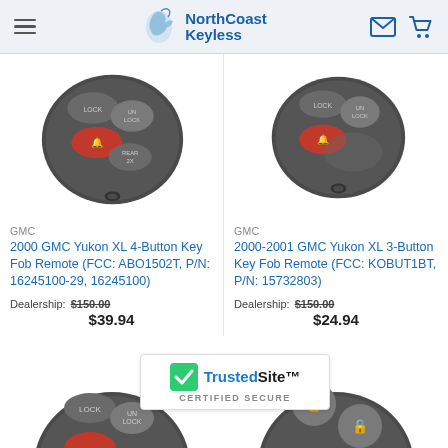NorthCoast Keyless
[Figure (photo): 4-button GMC key fob remote, dark gray, with LOCK, UNLOCK, alarm, and REAR 2X buttons]
GMC
2000 GMC Yukon XL 4-Button Key Fob Remote (FCC: ABO1502T, P/N: 16245100-29, 16245100)
Dealership: $150.00
$39.94
[Figure (photo): 3-button GMC key fob remote, dark gray, with LOCK, UNLOCK, and alarm buttons]
GMC
2000-2001 GMC Yukon XL 3-Button Key Fob Remote (FCC: KOBUT1BT, P/N: 15732803)
Dealership: $150.00
$24.94
[Figure (photo): Partial view of another key fob remote at bottom left]
[Figure (photo): Partial view of another key fob remote at bottom right]
[Figure (infographic): TrustedSite CERTIFIED SECURE badge]